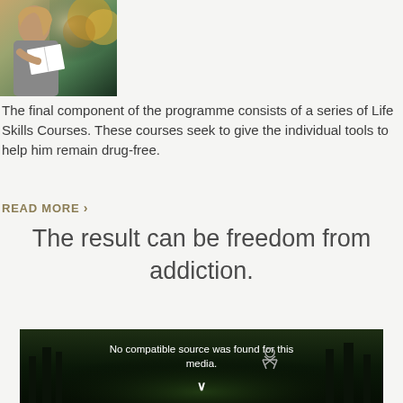[Figure (photo): Young woman with long blonde hair sitting and reading a book, photographed from the side against a window with autumn foliage in the background]
The final component of the programme consists of a series of Life Skills Courses. These courses seek to give the individual tools to help him remain drug-free.
READ MORE >
The result can be freedom from addiction.
[Figure (screenshot): Video player showing a forest/nature scene at night with message 'No compatible source was found for this media.' and a download icon with chevron]